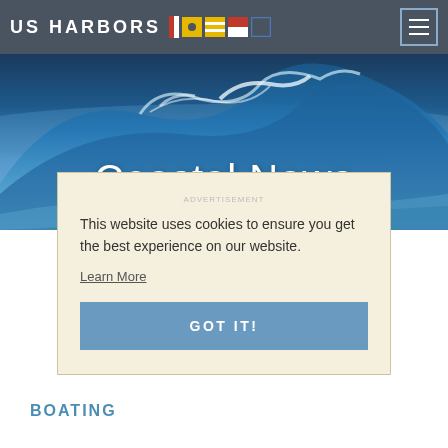US HARBORS [flags] [menu]
[Figure (photo): Ocean wave hero image with 'Coastal News' title overlay]
Coastal News
ADVERTISEMENT
This website uses cookies to ensure you get the best experience on our website.
Learn More
GOT IT!
BOATING